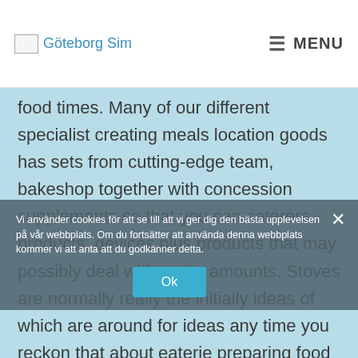Göteborg Sim | MENU
food times. Many of our different specialist creating meals location goods has sets from cutting-edge team, bakeshop together with concession supplements so that you can caterers products, devices plus products that may possibly deal with major amounts. Stoves are normally really the initially ideas of which are around for ideas any time you reckon that about eaterie preparing food gear. An individual's restaurant software listing is a crucial component of planning increase progressive turn, plus it'll help you build out and about the bills element of your dining establishment approach.

When ever outfitting the household along with good once
Vi använder cookies för att se till att vi ger dig den bästa upplevelsen på vår webbplats. Om du fortsätter att använda denna webbplats kommer vi att anta att du godkänner detta.
Ok